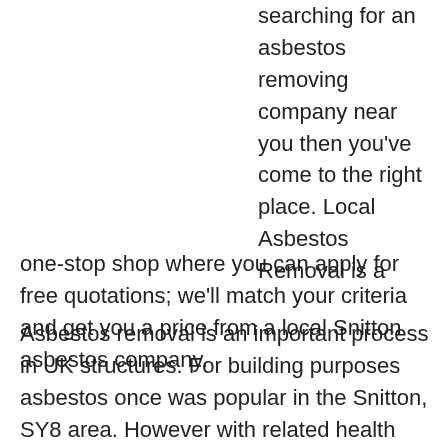searching for an asbestos removing company near you then you've come to the right place. Local Asbestos Removal is a one-stop shop where you can apply for free quotations; we'll match your criteria and get you a price from a local Snitton asbestos company.
Asbestos removal is an important process in UK structures. For building purposes asbestos once was popular in the Snitton, SY8 area. However with related health risks the Government imposed a ban on its use in 2006.